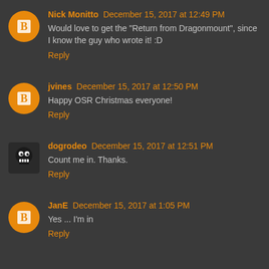Nick Monitto December 15, 2017 at 12:49 PM
Would love to get the "Return from Dragonmount", since I know the guy who wrote it! :D
Reply
jvines December 15, 2017 at 12:50 PM
Happy OSR Christmas everyone!
Reply
dogrodeo December 15, 2017 at 12:51 PM
Count me in. Thanks.
Reply
JanE December 15, 2017 at 1:05 PM
Yes ... I'm in
Reply